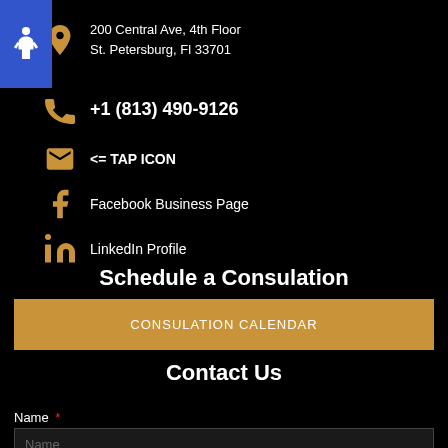200 Central Ave, 4th Floor
St. Petersburg, Fl 33701
+1 (813) 490-9126
<= TAP ICON
Facebook Business Page
LinkedIn Profile
Schedule a Consulation
CONSULATION CALENDAR
Contact Us
Name *
Name